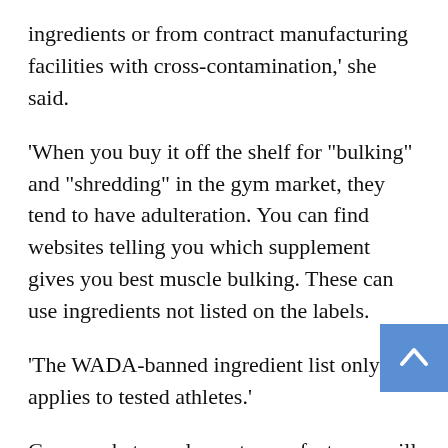ingredients or from contract manufacturing facilities with cross-contamination,' she said.
'When you buy it off the shelf for “bulking” and “shredding” in the gym market, they tend to have adulteration. You can find websites telling you which supplement gives you best muscle bulking. These can use ingredients not listed on the labels.
'The WADA-banned ingredient list only applies to tested athletes.'
Grey market supplement manufacturers will often engage in an arms race with testing authorities, by finding analogous substances.
In 2012, the TGA banned the use of DMAA (1,3-dimethylamylamine) from foods, listed medicines and